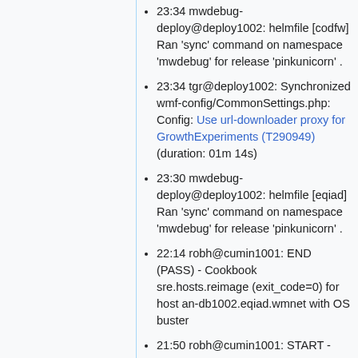23:34 mwdebug-deploy@deploy1002: helmfile [codfw] Ran 'sync' command on namespace 'mwdebug' for release 'pinkunicorn' .
23:34 tgr@deploy1002: Synchronized wmf-config/CommonSettings.php: Config: Use url-downloader proxy for GrowthExperiments (T290949) (duration: 01m 14s)
23:30 mwdebug-deploy@deploy1002: helmfile [eqiad] Ran 'sync' command on namespace 'mwdebug' for release 'pinkunicorn' .
22:14 robh@cumin1001: END (PASS) - Cookbook sre.hosts.reimage (exit_code=0) for host an-db1002.eqiad.wmnet with OS buster
21:50 robh@cumin1001: START -